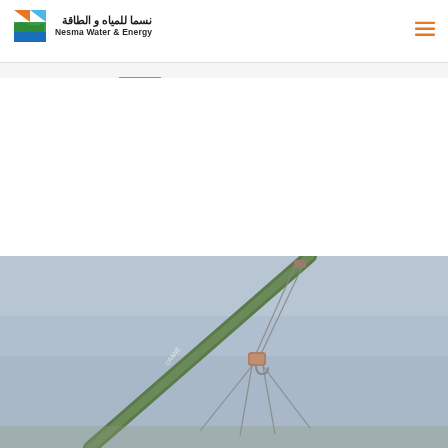نسما للمياه والطاقة / Nesma Water & Energy
[Figure (logo): Nesma Water & Energy logo with colorful wave icon and bilingual text (Arabic and English)]
[Figure (photo): Photograph of a crane arm and hook against a blue sky, taken from below at an angle]